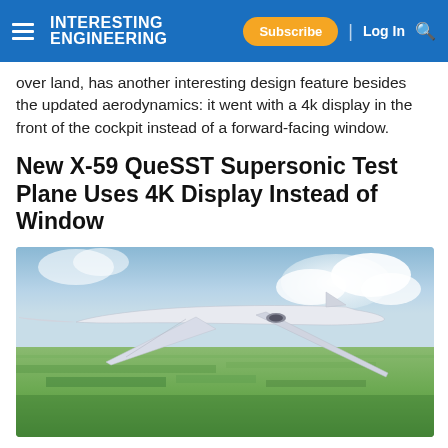Interesting Engineering — Subscribe | Log In
over land, has another interesting design feature besides the updated aerodynamics: it went with a 4k display in the front of the cockpit instead of a forward-facing window.
New X-59 QueSST Supersonic Test Plane Uses 4K Display Instead of Window
[Figure (photo): Artistic rendering of the X-59 QueSST supersonic test plane flying over green farmland with a partly cloudy sky. The plane has a sleek, elongated fuselage with delta wings and no forward cockpit window.]